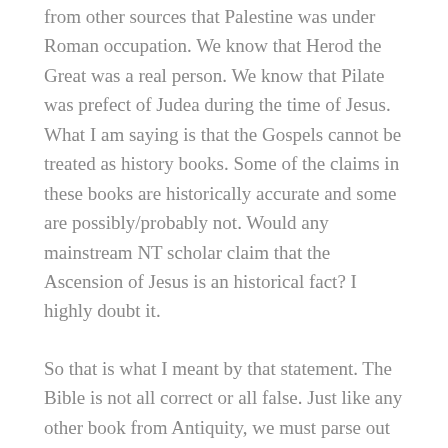from other sources that Palestine was under Roman occupation. We know that Herod the Great was a real person. We know that Pilate was prefect of Judea during the time of Jesus. What I am saying is that the Gospels cannot be treated as history books. Some of the claims in these books are historically accurate and some are possibly/probably not. Would any mainstream NT scholar claim that the Ascension of Jesus is an historical fact? I highly doubt it.
So that is what I meant by that statement. The Bible is not all correct or all false. Just like any other book from Antiquity, we must parse out truth from fiction. We should not write the Gospels off as